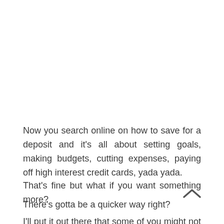Now you search online on how to save for a deposit and it’s all about setting goals, making budgets, cutting expenses, paying off high interest credit cards, yada yada.
That’s fine but what if you want something more?
There’s gotta be a quicker way right?
I’ll put it out there that some of you might not agree with